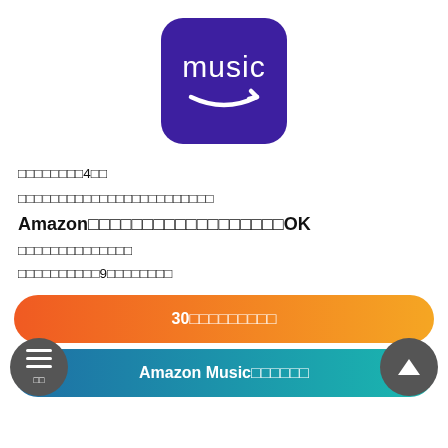[Figure (logo): Amazon Music app icon: purple rounded square with 'music' text and Amazon smile arrow in white]
□□□□□□□□4□□
□□□□□□□□□□□□□□□□□□□□□□□□
Amazon□□□□□□□□□□□□□□□□□□OK
□□□□□□□□□□□□□□
□□□□□□□□□□9□□□□□□□□
30□□□□□□□□□
Amazon Music□□□□□□